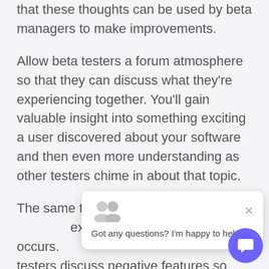that these thoughts can be used by beta managers to make improvements.
Allow beta testers a forum atmosphere so that they can discuss what they're experiencing together. You'll gain valuable insight into something exciting a user discovered about your software and then even more understanding as other testers chime in about that topic.
The same thing happens when a negative experience occurs. testers discuss negative features so that you can fix them prior to the product's official release.
[Figure (screenshot): Chat popup widget showing two avatar icons, an X close button, and text 'Got any questions? I'm happy to help.' with a purple circular chat button in the bottom right corner.]